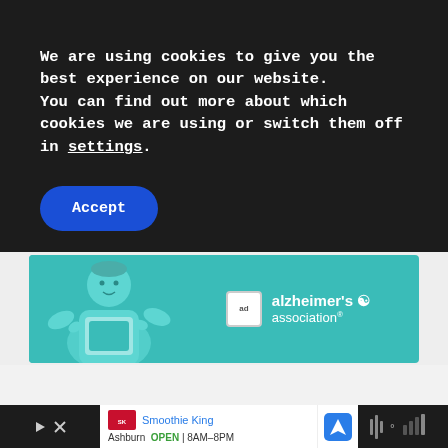We are using cookies to give you the best experience on our website.
You can find out more about which cookies we are using or switch them off in settings.
Accept
[Figure (illustration): Advertisement banner for Alzheimer's Association showing a teal illustration of a person holding a sign, with the Alzheimer's Association logo and 'ad' badge on the right side.]
[Figure (screenshot): Bottom bar showing Smoothie King advertisement with play button, X button, Smoothie King logo, location 'Ashburn', status 'OPEN', hours '8AM-8PM', a navigation arrow icon, and weather/news icons on the right.]